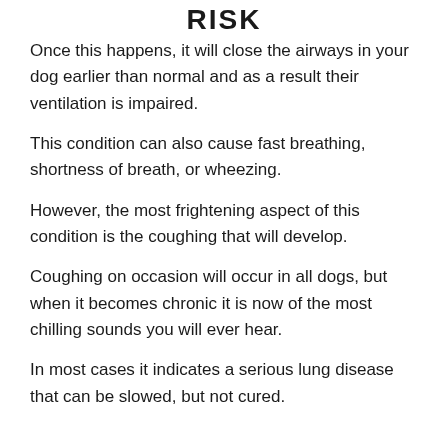RISK
Once this happens, it will close the airways in your dog earlier than normal and as a result their ventilation is impaired.
This condition can also cause fast breathing, shortness of breath, or wheezing.
However, the most frightening aspect of this condition is the coughing that will develop.
Coughing on occasion will occur in all dogs, but when it becomes chronic it is now of the most chilling sounds you will ever hear.
In most cases it indicates a serious lung disease that can be slowed, but not cured.